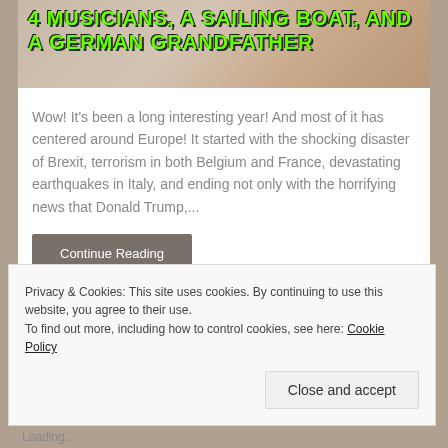[Figure (photo): Hero image of a sailing boat with text overlay: 4 MUSICIANS, A SAILING BOAT, AND A GERMAN GRANDFATHER in green graffiti-style font]
Wow! It's been a long interesting year! And most of it has centered around Europe! It started with the shocking disaster of Brexit, terrorism in both Belgium and France, devastating earthquakes in Italy, and ending not only with the horrifying news that Donald Trump,...
Continue Reading
Privacy & Cookies: This site uses cookies. By continuing to use this website, you agree to their use.
To find out more, including how to control cookies, see here: Cookie Policy
Close and accept
Loading...